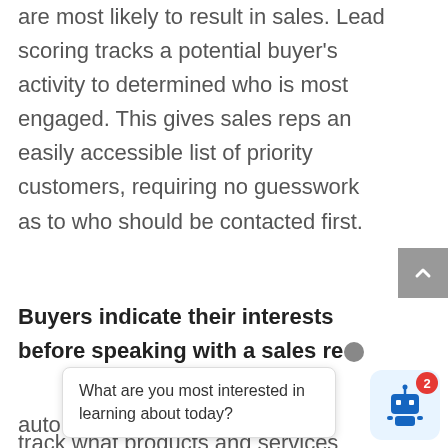are most likely to result in sales. Lead scoring tracks a potential buyer's activity to determined who is most engaged. This gives sales reps an easily accessible list of priority customers, requiring no guesswork as to who should be contacted first.
Buyers indicate their interests before speaking with a sales re...
auto... track what products and services
What are you most interested in learning about today?